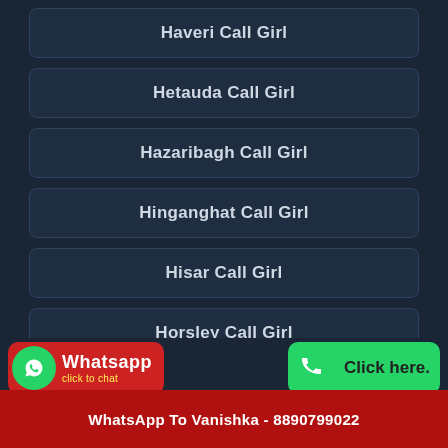Haveri Call Girl
Hetauda Call Girl
Hazaribagh Call Girl
Hinganghat Call Girl
Hisar Call Girl
Horsley Call Girl
Hoshangabad Call Girl
Call Vanishka Now - 8890799022
WhatsApp To Vanishka - 8890799022